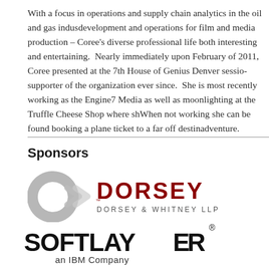With a focus in operations and supply chain analytics in the oil and gas indus... development and operations for film and media production – Coree's diverse professional life both interesting and entertaining. Nearly immediately upon February of 2011, Coree presented at the 7th House of Genius Denver sessio... supporter of the organization ever since. She is most recently working as the Engine7 Media as well as moonlighting at the Truffle Cheese Shop where sh... When not working she can be found booking a plane ticket to a far off destin... adventure.
Sponsors
[Figure (logo): Dorsey & Whitney LLP logo with circular arrow graphic in grey and red DORSEY text]
[Figure (logo): SoftLayer an IBM Company logo in bold black text]